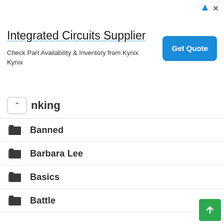[Figure (screenshot): Advertisement banner for Integrated Circuits Supplier - Kynix, with Get Quote button]
nking
Banned
Barbara Lee
Basics
Battle
Bay Area
Bazquiat
Bc
BC Flood 2021
BDSM